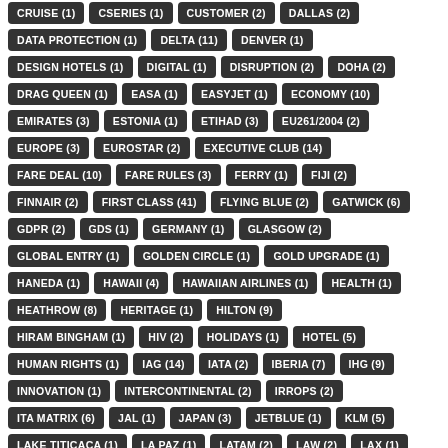CRUISE (1)
CSERIES (1)
CUSTOMER (2)
DALLAS (2)
DATA PROTECTION (1)
DELTA (11)
DENVER (1)
DESIGN HOTELS (1)
DIGITAL (1)
DISRUPTION (2)
DOHA (2)
DRAG QUEEN (1)
EASA (1)
EASYJET (1)
ECONOMY (10)
EMIRATES (3)
ESTONIA (1)
ETIHAD (3)
EU261/2004 (2)
EUROPE (3)
EUROSTAR (2)
EXECUTIVE CLUB (14)
FARE DEAL (10)
FARE RULES (3)
FERRY (1)
FIJI (2)
FINNAIR (2)
FIRST CLASS (41)
FLYING BLUE (2)
GATWICK (6)
GDPR (2)
GDS (1)
GERMANY (1)
GLASGOW (2)
GLOBAL ENTRY (1)
GOLDEN CIRCLE (1)
GOLD UPGRADE (1)
HANEDA (1)
HAWAII (4)
HAWAIIAN AIRLINES (1)
HEALTH (1)
HEATHROW (8)
HERITAGE (1)
HILTON (9)
HIRAM BINGHAM (1)
HIV (2)
HOLIDAYS (1)
HOTEL (5)
HUMAN RIGHTS (1)
IAG (14)
IATA (2)
IBERIA (7)
IHG (9)
INNOVATION (1)
INTERCONTINENTAL (2)
IRROPS (2)
ITA MATRIX (6)
JAL (1)
JAPAN (3)
JETBLUE (1)
KLM (5)
LAKE TITICACA (1)
LA PAZ (1)
LATAM (2)
LAW (2)
LAX (1)